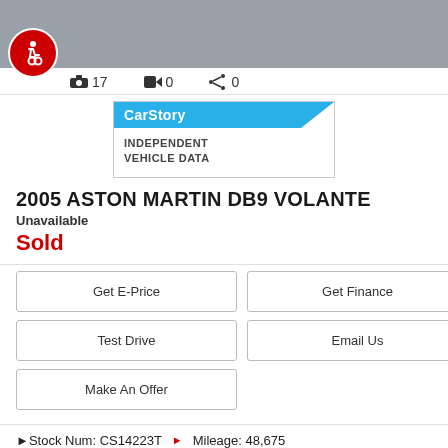[Figure (photo): Grey car photo background with red accessibility/wheelchair icon badge in lower left]
17
0
0
[Figure (logo): CarStory - Independent Vehicle Data badge with blue banner]
2005 ASTON MARTIN DB9 VOLANTE
Unavailable
Sold
Get E-Price
Get Finance
Test Drive
Email Us
Make An Offer
Stock Num: CS14223T  Mileage: 48,675
Transmission: Automatic
Engine: 5.9L V12 48 Valve 450HP DOHC